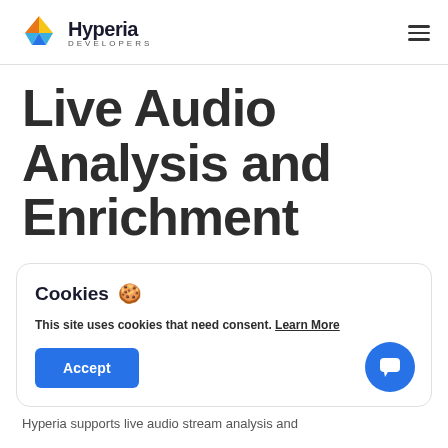Hyperia DEVELOPERS
Live Audio Analysis and Enrichment
Cookies 🍪
This site uses cookies that need consent. Learn More
Accept
Hyperia supports live audio stream analysis and